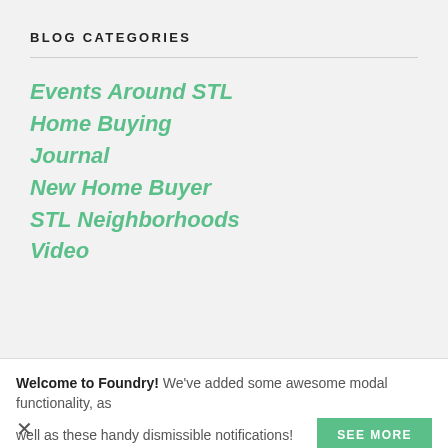BLOG CATEGORIES
Events Around STL
Home Buying
Journal
New Home Buyer
STL Neighborhoods
Video
Welcome to Foundry! We've added some awesome modal functionality, as well as these handy dismissible notifications!